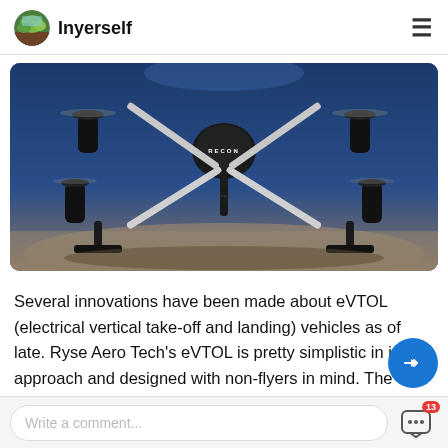Inyerself
[Figure (photo): A black and white quadcopter drone labeled 'RECON' photographed from a low angle against a blue background, showing four arms with motors and propellers.]
Several innovations have been made about eVTOL (electrical vertical take-off and landing) vehicles as of late. Ryse Aero Tech's eVTOL is pretty simplistic in its approach and designed with non-flyers in mind. The Recon (pictured above) can be flown with
Write a comment...